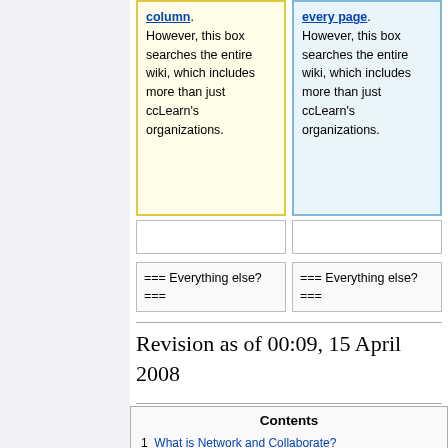column. However, this box searches the entire wiki, which includes more than just ccLearn's organizations.
every page. However, this box searches the entire wiki, which includes more than just ccLearn's organizations.
=== Everything else? ===
=== Everything else? ===
Revision as of 00:09, 15 April 2008
| Contents |
| --- |
| 1  What is Network and Collaborate? |
| 2  Where do I begin? |
| 3  How do I search for |
| 3.1  Projects and Organizations? |